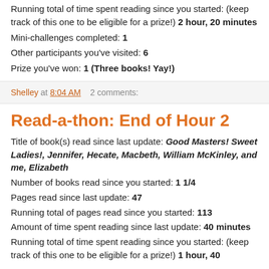Running total of time spent reading since you started: (keep track of this one to be eligible for a prize!) 2 hour, 20 minutes
Mini-challenges completed: 1
Other participants you've visited: 6
Prize you've won: 1 (Three books! Yay!)
Shelley at 8:04 AM   2 comments:
Read-a-thon: End of Hour 2
Title of book(s) read since last update: Good Masters! Sweet Ladies!, Jennifer, Hecate, Macbeth, William McKinley, and me, Elizabeth
Number of books read since you started: 1 1/4
Pages read since last update: 47
Running total of pages read since you started: 113
Amount of time spent reading since last update: 40 minutes
Running total of time spent reading since you started: (keep track of this one to be eligible for a prize!) 1 hour, 40